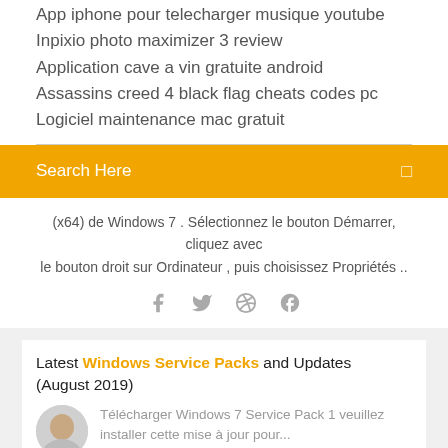App iphone pour telecharger musique youtube
Inpixio photo maximizer 3 review
Application cave a vin gratuite android
Assassins creed 4 black flag cheats codes pc
Logiciel maintenance mac gratuit
[Figure (other): Orange search bar with text 'Search Here' and a search icon]
(x64) de Windows 7 . Sélectionnez le bouton Démarrer, cliquez avec le bouton droit sur Ordinateur , puis choisissez Propriétés ..
[Figure (other): Social media icons: Facebook, Twitter, Dribbble, Behance]
Latest Windows Service Packs and Updates (August 2019)
Télécharger Windows 7 Service Pack 1 veuillez installer cette mise à jour pour...